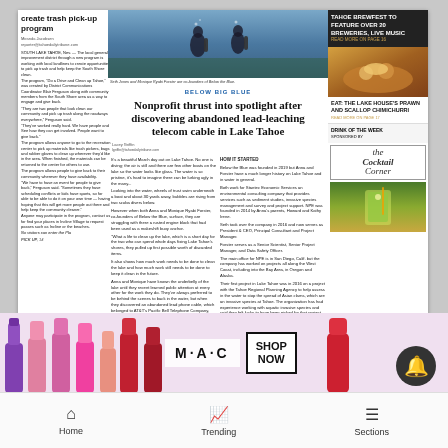create trash pick-up program
Miranda Jacobsen
The local general improvement district through a new program is working with local landlines to create opportunities to pick up trash and help keep the South Shore clean. The program, 'Do a Drive and Clean up Tahoe' was created by District Communications Coordinator Blair Ferguson along with community members...
[Figure (photo): Two scuba divers underwater in Lake Tahoe, Seth Jones and Monique Ryabi Forster, co-founders of Below the Blue]
Seth Jones and Monique Ryabi Forster are co-founders of Below the Blue.
BELOW BIG BLUE
Nonprofit thrust into spotlight after discovering abandoned lead-leaching telecom cable in Lake Tahoe
Lacey Griffin
It's a beautiful March day out on Lake Tahoe. No one is diving; the air is still and there are few other boats on the lake so the water looks like glass. The water is so pristine, it's hard to imagine there can be lurking ugly in the many...
HOW IT STARTED
Below the Blue was founded in 2019 by Anna and Forster how a much longer history on Lake Tahoe and in water in general...
TAHOE BREWFEST TO FEATURE OVER 20 BREWERIES, LIVE MUSIC
READ MORE ON PAGE 16
[Figure (photo): Food photo - Lake House's prawn and scallop chimichurri dish]
EAT: THE LAKE HOUSE'S PRAWN AND SCALLOP CHIMICHURRI
READ MORE ON PAGE 17
DRINK OF THE WEEK
[Figure (logo): The Cocktail Corner logo]
[Figure (photo): Cocktail drink photo]
[Figure (photo): Advertisement - Mental Health First Aid Introduction, Barton Health, Wellness Webinar]
Mental Health First Aid Introduction
Wellness Webinar with Stephanie Carlson, MBA, SUDCC #6283, CPS with El Dorado County Health & Human Services
Thursday, Sept. 15 | 5pm online via Zoom
530.343.5537 · Register at bartonhealth.org/lecture
[Figure (logo): Barton Health logo - blue background with mountain graphic]
[Figure (advertisement): MAC cosmetics advertisement with lipsticks and Shop Now button]
Home    Trending    Sections